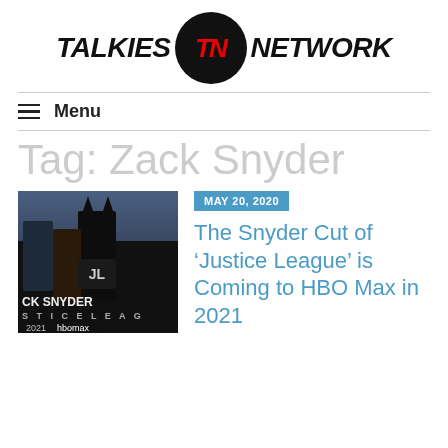[Figure (logo): Talkies Network logo with black circle containing red TN letters in italic bold, flanked by TALKIES on the left and NETWORK on the right in black italic bold text]
Menu
Tag: Zack Snyder
[Figure (photo): Promotional poster for Zack Snyder's Justice League showing superheroes in dark tones with text CK SNYDER STICE LEAG 2021 HBOmax]
MAY 20, 2020
The Snyder Cut of ‘Justice League’ is Coming to HBO Max in 2021